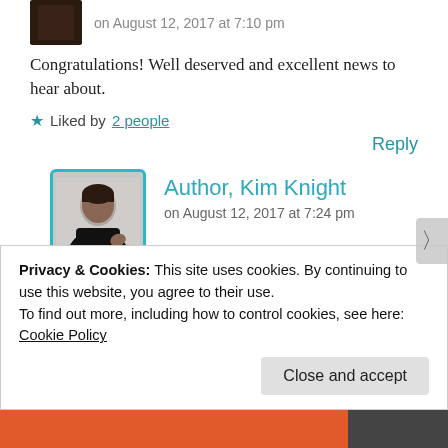on August 12, 2017 at 7:10 pm
Congratulations! Well deserved and excellent news to hear about.
★ Liked by 2 people
Reply
Author, Kim Knight
on August 12, 2017 at 7:24 pm
Thank you James!! I'm so excited. And thanks for your readership and follow.
Privacy & Cookies: This site uses cookies. By continuing to use this website, you agree to their use.
To find out more, including how to control cookies, see here:
Cookie Policy
Close and accept